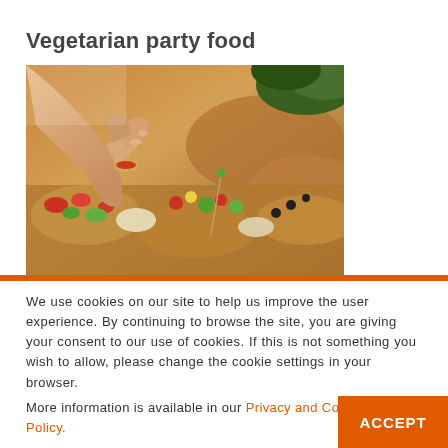Vegetarian party food
[Figure (photo): A hand reaching over a spread of colorful vegetarian canapes and finger foods on a table, with various toppings including vegetables and garnishes.]
We use cookies on our site to help us improve the user experience. By continuing to browse the site, you are giving your consent to our use of cookies. If this is not something you wish to allow, please change the cookie settings in your browser.
More information is available in our Privacy and Cookie Policy.